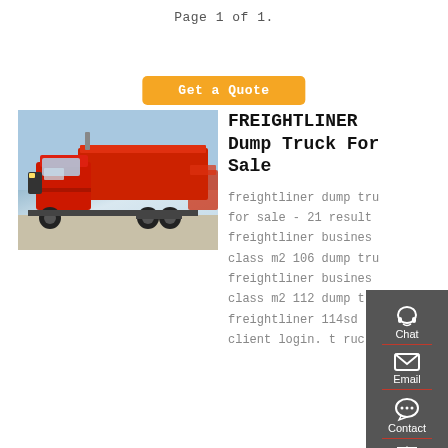Page 1 of 1.
Get a Quote
[Figure (photo): Red Freightliner dump truck parked in a lot, front three-quarter view showing red cab and red dump body, multiple trucks visible in background.]
FREIGHTLINER Dump Truck For Sale
freightliner dump truck for sale - 21 results freightliner business class m2 106 dump truck, freightliner business class m2 112 dump truck, freightliner 114sd client login. t ruck 'n